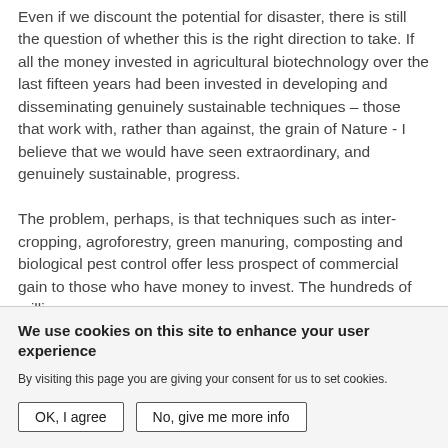Even if we discount the potential for disaster, there is still the question of whether this is the right direction to take. If all the money invested in agricultural biotechnology over the last fifteen years had been invested in developing and disseminating genuinely sustainable techniques – those that work with, rather than against, the grain of Nature - I believe that we would have seen extraordinary, and genuinely sustainable, progress.

The problem, perhaps, is that techniques such as inter-cropping, agroforestry, green manuring, composting and biological pest control offer less prospect of commercial gain to those who have money to invest. The hundreds of millions
We use cookies on this site to enhance your user experience
By visiting this page you are giving your consent for us to set cookies.
OK, I agree
No, give me more info